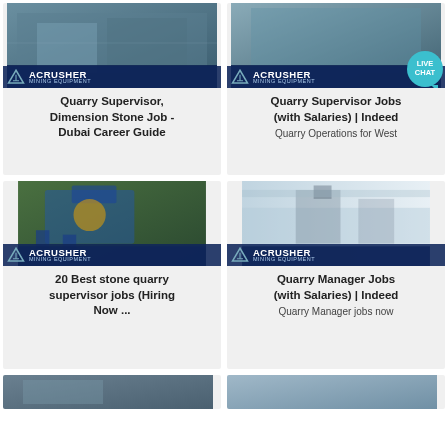[Figure (screenshot): Card: Mining/crusher facility photo with ACRUSHER MINING EQUIPMENT logo. Title: Quarry Supervisor, Dimension Stone Job - Dubai Career Guide]
[Figure (screenshot): Card: Mining facility photo with ACRUSHER MINING EQUIPMENT logo and LIVE CHAT bubble. Title: Quarry Supervisor Jobs (with Salaries) | Indeed. Subtitle: Quarry Operations for West]
[Figure (screenshot): Card: Blue stone quarry crusher machine photo with ACRUSHER MINING EQUIPMENT logo. Title: 20 Best stone quarry supervisor jobs (Hiring Now ...) ]
[Figure (screenshot): Card: Industrial hall with crusher equipment photo with ACRUSHER MINING EQUIPMENT logo. Title: Quarry Manager Jobs (with Salaries) | Indeed. Subtitle: Quarry Manager jobs now]
[Figure (screenshot): Partially visible card at bottom left showing mining equipment photo]